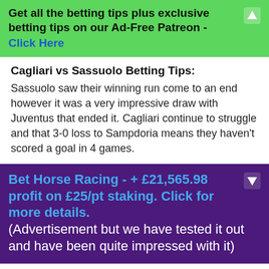Get all the betting tips plus exclusive betting tips on our Ad-Free Patreon - Click Here
Cagliari vs Sassuolo Betting Tips:
Sassuolo saw their winning run come to an end however it was a very impressive draw with Juventus that ended it. Cagliari continue to struggle and that 3-0 loss to Sampdoria means they haven't scored a goal in 4 games.
Bet Horse Racing - + £21,565.98 profit on £25/pt staking. Click for more details. (Advertisement but we have tested it out and have been quite impressed with it)